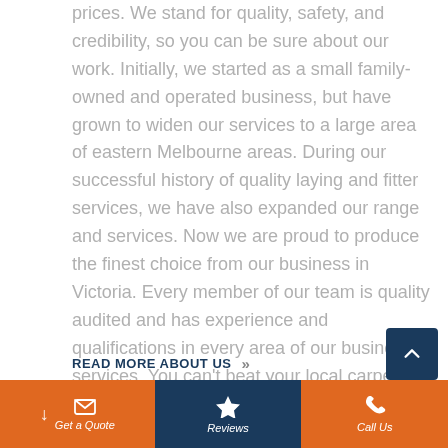prices. We stand for quality, safety, and credibility, so you can be sure about our work. Initially, we started as a small family-owned and operated business, but have grown to widen our services to a large area of eastern Melbourne areas. During our successful history of quality laying and fitter services, we have also expanded our range and services. Now we are proud to produce the finest choice from our business in Victoria. Every member of our team is quality audited and has experience and qualifications in every area of our business services. You can't beat your local carpet sellers, because we have a price-beat guarantee.
READ MORE ABOUT US »»
Get a Quote | Reviews | Call Us